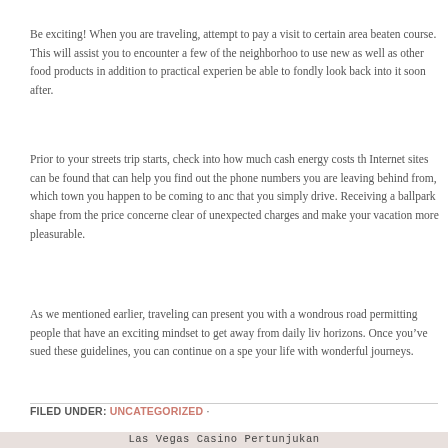Be exciting! When you are traveling, attempt to pay a visit to certain area beaten course. This will assist you to encounter a few of the neighborhood to use new as well as other food products in addition to practical experien be able to fondly look back into it soon after.
Prior to your streets trip starts, check into how much cash energy costs th Internet sites can be found that can help you find out the phone numbers you are leaving behind from, which town you happen to be coming to and that you simply drive. Receiving a ballpark shape from the price concerne clear of unexpected charges and make your vacation more pleasurable.
As we mentioned earlier, traveling can present you with a wondrous road permitting people that have an exciting mindset to get away from daily liv horizons. Once you've sued these guidelines, you can continue on a spe your life with wonderful journeys.
FILED UNDER: UNCATEGORIZED ·
Las Vegas Casino Pertunjukan